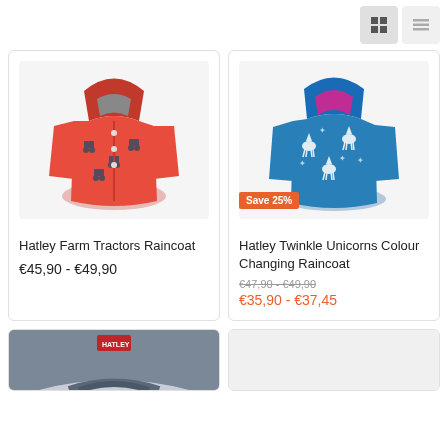[Figure (screenshot): Grid/list view toggle buttons in toolbar]
[Figure (photo): Red Hatley Farm Tractors Raincoat with hood]
Hatley Farm Tractors Raincoat
€45,90 - €49,90
[Figure (photo): Blue Hatley Twinkle Unicorns Colour Changing Raincoat with hood and Save 25% badge]
Hatley Twinkle Unicorns Colour Changing Raincoat
€47,90 - €49,90
€35,90 - €37,45
[Figure (photo): Partial view of navy blue Hatley product]
[Figure (photo): Partial view of light colored product]